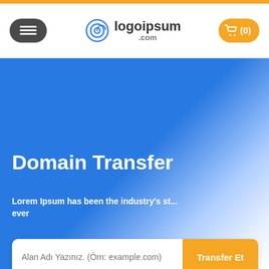[Figure (logo): logoipsum.com logo with circular icon and text]
Domain Transfer
Lorem Ipsum has been the industry's st... ever
Alan Adı Yazınız. (Örn: example.com)
Transfer Et